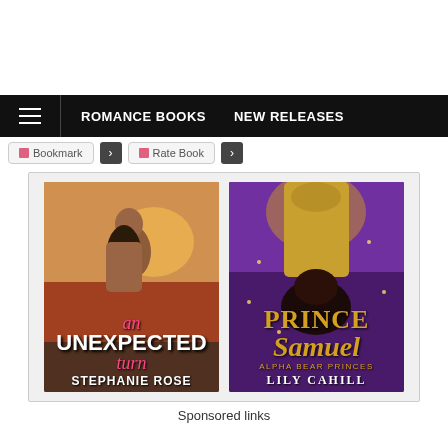ROMANCE BOOKS   NEW RELEASES
Bookmark  Rate Book
[Figure (illustration): Two book covers side by side. Left: 'an UNEXPECTED turn' by Stephanie Rose — romantic couple kissing on cover with red/orange sunset background. Right: 'PRINCE Samuel Alpha Bear Princes' by Lily Cahill — fantasy/paranormal cover with golden muscular figure and bear.]
Sponsored links